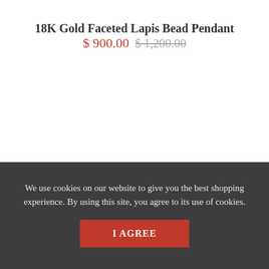18K Gold Faceted Lapis Bead Pendant
$ 900.00 $ 1,200.00
We use cookies on our website to give you the best shopping experience. By using this site, you agree to its use of cookies.
I AGREE